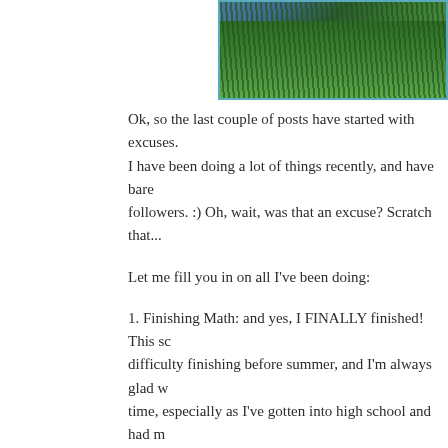[Figure (photo): Partial photo of green pine/fir needles or grass against a blue background, shown in upper right with teal border]
Ok, so the last couple of posts have started with excuses. I have been doing a lot of things recently, and have bare followers. :) Oh, wait, was that an excuse? Scratch that...
Let me fill you in on all I've been doing:
1. Finishing Math: and yes, I FINALLY finished! This sc difficulty finishing before summer, and I'm always glad w time, especially as I've gotten into high school and had m
2. Working on Music: This also takes up a lot of time, be instruments in June. (which is coming a lot quicker tha practice piano for at least an hour every day, more on th flute requires 40 min. pretty much every day too.